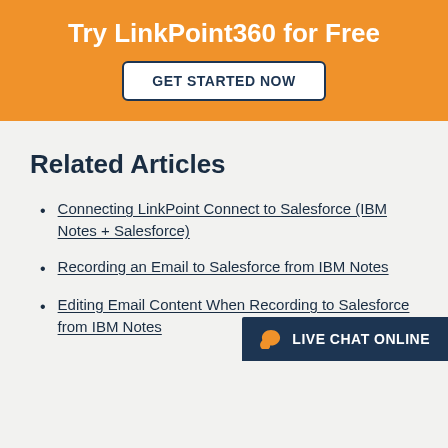Try LinkPoint360 for Free
GET STARTED NOW
Related Articles
Connecting LinkPoint Connect to Salesforce (IBM Notes + Salesforce)
Recording an Email to Salesforce from IBM Notes
Editing Email Content When Recording to Salesforce from IBM Notes
LIVE CHAT ONLINE